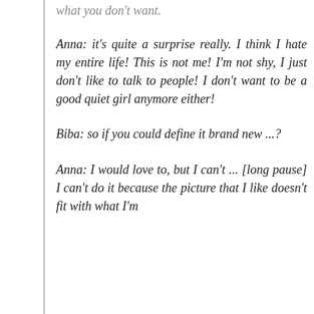what you don't want.
Anna: it's quite a surprise really. I think I hate my entire life! This is not me! I'm not shy, I just don't like to talk to people! I don't want to be a good quiet girl anymore either!
Biba: so if you could define it brand new ...?
Anna: I would love to, but I can't ... [long pause] I can't do it because the picture that I like doesn't fit with what I'm